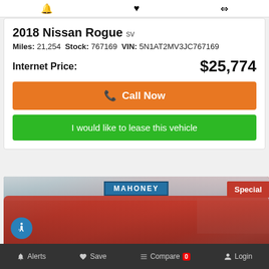2018 Nissan Rogue SV
Miles: 21,254  Stock: 767169  VIN: 5N1AT2MV3JC767169
Internet Price: $25,774
Call Now
I would like to lease this vehicle
[Figure (photo): Red truck/SUV parked in front of Mahoney dealership with Special badge in top right corner]
Alerts  Save  Compare 0  Login